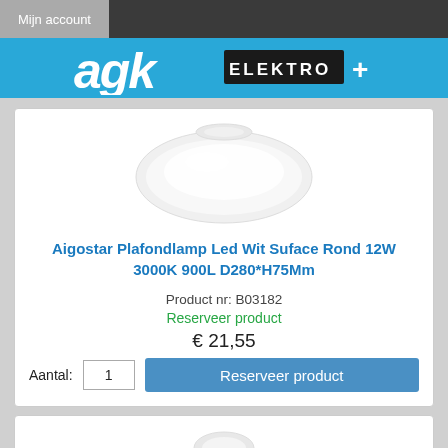Mijn account
[Figure (logo): AGK Elektro+ logo on blue background]
[Figure (photo): White oval ceiling lamp (Aigostar Plafondlamp) product photo on white background]
Aigostar Plafondlamp Led Wit Suface Rond 12W 3000K 900L D280*H75Mm
Product nr: B03182
Reserveer product
€ 21,55
Aantal: 1
Reserveer product